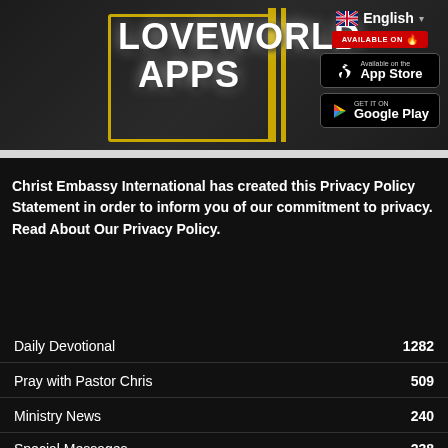[Figure (screenshot): Loveworld Apps banner with dark background, yellow border box, app store badges, and English language selector with UK flag]
Christ Embassy International has created this Privacy Policy Statement in order to inform you of our commitment to privacy. Read About Our Privacy Policy.
Daily Devotional 1282
Pray with Pastor Chris 509
Ministry News 240
Special Messages 238